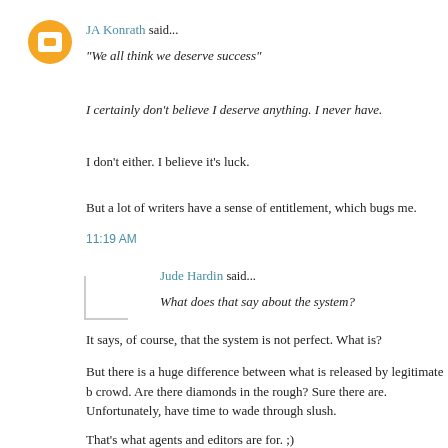JA Konrath said...
"We all think we deserve success"
I certainly don't believe I deserve anything. I never have.
I don't either. I believe it's luck.
But a lot of writers have a sense of entitlement, which bugs me.
11:19 AM
Jude Hardin said...
What does that say about the system?
It says, of course, that the system is not perfect. What is?
But there is a huge difference between what is released by legitimate b crowd. Are there diamonds in the rough? Sure there are. Unfortunately, have time to wade through slush.
That's what agents and editors are for. ;)